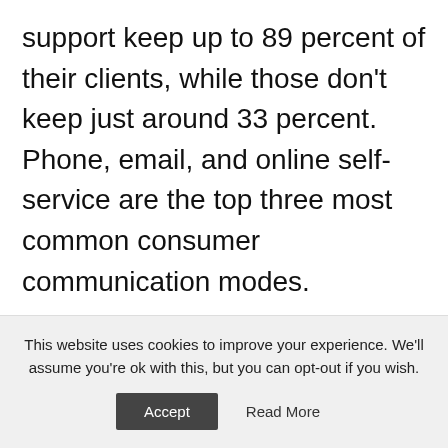support keep up to 89 percent of their clients, while those don't keep just around 33 percent. Phone, email, and online self-service are the top three most common consumer communication modes.

It doesn't have to be challenging to handle customer inquiries from multiple channels. There's plenty of help desk software on the market with multi-channel ticketing systems that make it simple. Whatever channels
This website uses cookies to improve your experience. We'll assume you're ok with this, but you can opt-out if you wish.
Accept   Read More